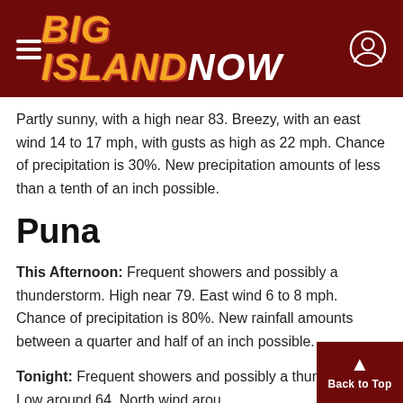Big Island Now
Partly sunny, with a high near 83. Breezy, with an east wind 14 to 17 mph, with gusts as high as 22 mph. Chance of precipitation is 30%. New precipitation amounts of less than a tenth of an inch possible.
Puna
This Afternoon: Frequent showers and possibly a thunderstorm. High near 79. East wind 6 to 8 mph. Chance of precipitation is 80%. New rainfall amounts between a quarter and half of an inch possible.
Tonight: Frequent showers and possibly a thunderstorm. Low around 64. North wind arou...